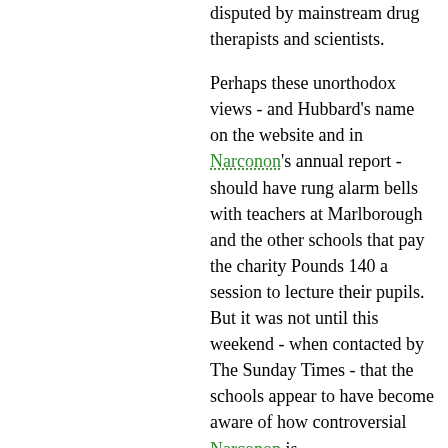disputed by mainstream drug therapists and scientists.
Perhaps these unorthodox views - and Hubbard's name on the website and in Narconon's annual report - should have rung alarm bells with teachers at Marlborough and the other schools that pay the charity Pounds 140 a session to lecture their pupils. But it was not until this weekend - when contacted by The Sunday Times - that the schools appear to have become aware of how controversial Narconon is.
The charity, based in St Leonards, East Sussex, claims to be an independent organisation. But Professor Stephen Kent, a Canadian academic who is an authority on Scientology, said: "The connection between Narconon and Scientology is solid.
Of course, Scientology tries to get non-Scientologists involved in the programme, but the engine behind the programme is Scientology."